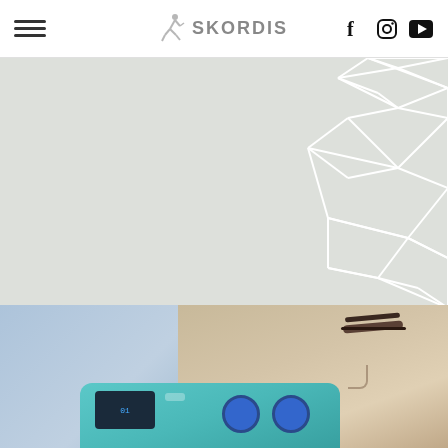[Figure (logo): Skordis logo with running figure icon and SKORDIS text in gray]
[Figure (infographic): Website screenshot header with hamburger menu, Skordis logo, Facebook, Instagram, YouTube social icons, gray hero section with white geometric triangular mesh pattern on right side, and photo of woman being treated with a medical/TENS device at bottom]
[Figure (photo): Woman looking up while a practitioner holds a blue/teal medical electrotherapy or TENS device near her face]